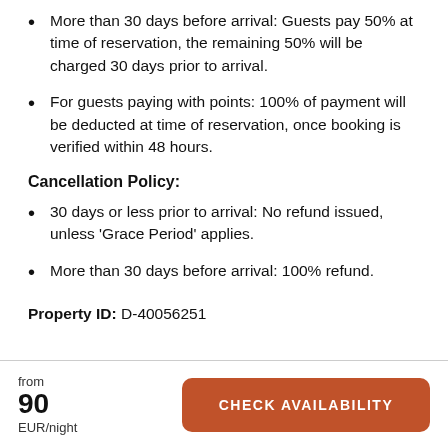More than 30 days before arrival: Guests pay 50% at time of reservation, the remaining 50% will be charged 30 days prior to arrival.
For guests paying with points: 100% of payment will be deducted at time of reservation, once booking is verified within 48 hours.
Cancellation Policy:
30 days or less prior to arrival: No refund issued, unless 'Grace Period' applies.
More than 30 days before arrival: 100% refund.
Property ID: D-40056251
from 90 EUR/night  CHECK AVAILABILITY